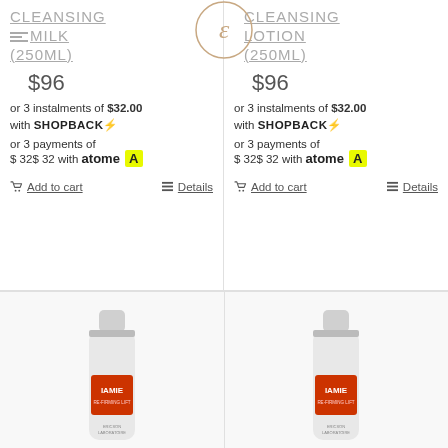CLEANSING MILK (250ml)
$96
or 3 instalments of $32.00 with SHOPBACK⚡
or 3 payments of $ 32$ 32 with atome A
Add to cart   Details
CLEANSING LOTION (250ml)
$96
or 3 instalments of $32.00 with SHOPBACK⚡
or 3 payments of $ 32$ 32 with atome A
Add to cart   Details
[Figure (photo): White bottle of IAMIE skincare product by Ericson Laboratoire]
[Figure (photo): White bottle of IAMIE skincare product by Ericson Laboratoire]